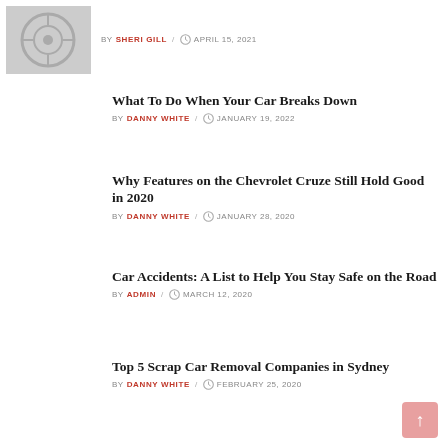[Figure (photo): Thumbnail image of a car mechanical part (wheel/brake)]
BY SHERI GILL / APRIL 15, 2021
What To Do When Your Car Breaks Down
BY DANNY WHITE / JANUARY 19, 2022
Why Features on the Chevrolet Cruze Still Hold Good in 2020
BY DANNY WHITE / JANUARY 28, 2020
Car Accidents: A List to Help You Stay Safe on the Road
BY ADMIN / MARCH 12, 2020
Top 5 Scrap Car Removal Companies in Sydney
BY DANNY WHITE / FEBRUARY 25, 2020